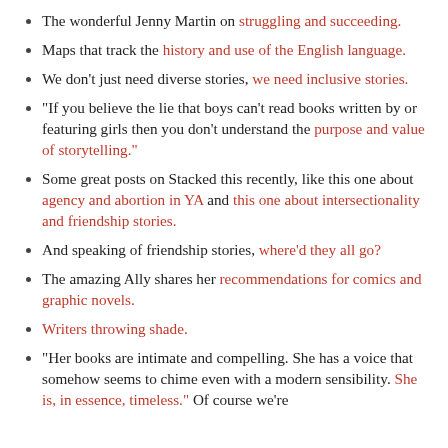The wonderful Jenny Martin on struggling and succeeding.
Maps that track the history and use of the English language.
We don't just need diverse stories, we need inclusive stories.
“If you believe the lie that boys can’t read books written by or featuring girls then you don’t understand the purpose and value of storytelling.”
Some great posts on Stacked this recently, like this one about agency and abortion in YA and this one about intersectionality and friendship stories.
And speaking of friendship stories, where’d they all go?
The amazing Ally shares her recommendations for comics and graphic novels.
Writers throwing shade.
“Her books are intimate and compelling. She has a voice that somehow seems to chime even with a modern sensibility. She is, in essence, timeless.” Of course we’re